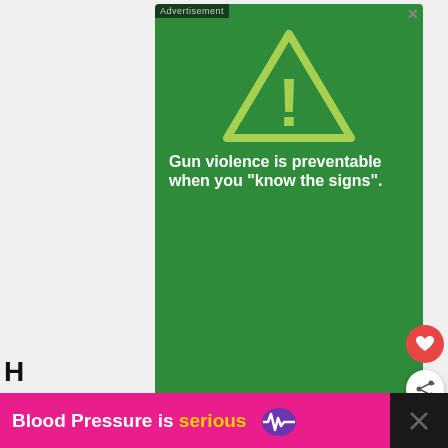[Figure (screenshot): Sandy Hook Promise advertisement on green background with yellow warning triangle and exclamation mark. Text reads: 'Gun violence is preventable when you "know the signs".' with Sandy Hook Promise logo and a yellow 'Learn More' button.]
[Figure (screenshot): Pink bottom banner advertisement reading 'Blood Pressure is serious' with a purple heart icon.]